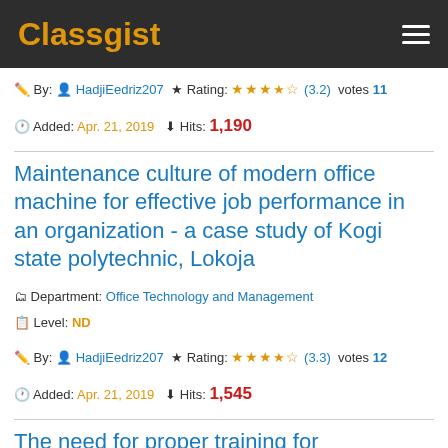Classgist
By: HadjiEedriz207 ★ Rating: ★★★½☆ (3.2) votes 11
Added: Apr. 21, 2019 Hits: 1,190
Maintenance culture of modern office machine for effective job performance in an organization - a case study of Kogi state polytechnic, Lokoja
Department: Office Technology and Management
Level: ND
By: HadjiEedriz207 ★ Rating: ★★★½☆ (3.3) votes 12
Added: Apr. 21, 2019 Hits: 1,545
The need for proper training for